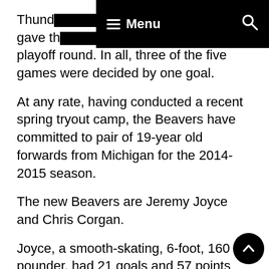Menu [navigation bar overlay]
Thund... d River gave th... e playoff round. In all, three of the five games were decided by one goal.
At any rate, having conducted a recent spring tryout camp, the Beavers have committed to pair of 19-year old forwards from Michigan for the 2014-2015 season.
The new Beavers are Jeremy Joyce and Chris Corgan.
Joyce, a smooth-skating, 6-foot, 160 pounder, had 21 goals and 57 points while playing for Reeths-Puffer high school in Muskegon in 2013-2014.
Corgan, on the other hand, is a 6-foot-1, 185 pounder who played for Aquinas College in Grand Rapids in 2013-2014.